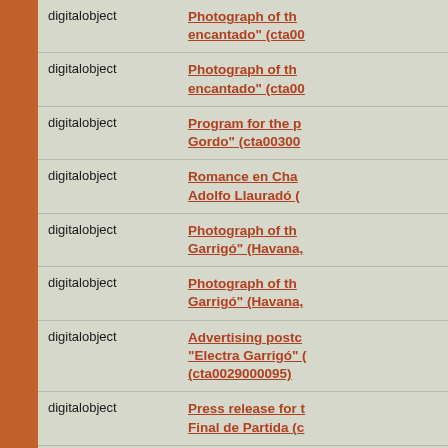| Type | Title |
| --- | --- |
| digitalobject | Photograph of th... encantado" (cta00... |
| digitalobject | Photograph of th... encantado" (cta00... |
| digitalobject | Program for the p... Gordo" (cta00300... |
| digitalobject | Romance en Cha... Adolfo Llauradó (... |
| digitalobject | Photograph of th... Garrigó" (Havana,... |
| digitalobject | Photograph of th... Garrigó" (Havana,... |
| digitalobject | Advertising postc... "Electra Garrigó" ... (cta0029000095) |
| digitalobject | Press release for t... Final de Partida (c... |
| digitalobject | Photograph of Pa... the theatrical pro... |